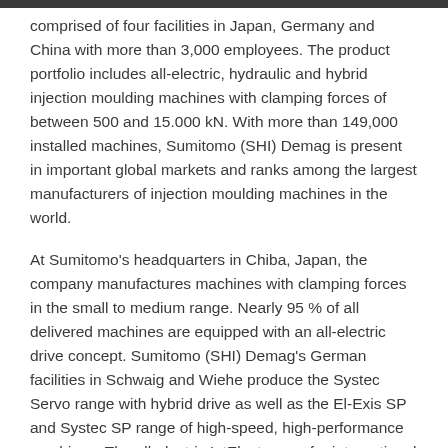comprised of four facilities in Japan, Germany and China with more than 3,000 employees. The product portfolio includes all-electric, hydraulic and hybrid injection moulding machines with clamping forces of between 500 and 15.000 kN. With more than 149,000 installed machines, Sumitomo (SHI) Demag is present in important global markets and ranks among the largest manufacturers of injection moulding machines in the world.
At Sumitomo's headquarters in Chiba, Japan, the company manufactures machines with clamping forces in the small to medium range. Nearly 95 % of all delivered machines are equipped with an all-electric drive concept. Sumitomo (SHI) Demag's German facilities in Schwaig and Wiehe produce the Systec Servo range with hybrid drive as well as the El-Exis SP and Systec SP range of high-speed, high-performance machines. The all-electric IntElect range for international customers is also being produced in Germany.
As early as 1998, Sumitomo (SHI) Demag set up its first